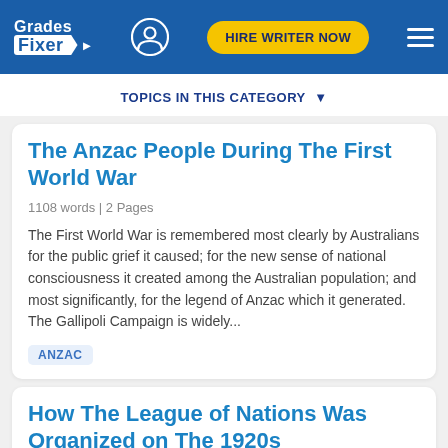Grades Fixer | HIRE WRITER NOW
TOPICS IN THIS CATEGORY
The Anzac People During The First World War
1108 words | 2 Pages
The First World War is remembered most clearly by Australians for the public grief it caused; for the new sense of national consciousness it created among the Australian population; and most significantly, for the legend of Anzac which it generated. The Gallipoli Campaign is widely...
ANZAC
How The League of Nations Was Organized on The 1920s